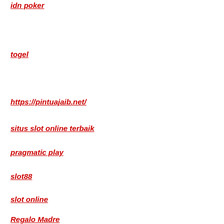idn poker
togel
https://pintuajaib.net/
situs slot online terbaik
pragmatic play
slot88
slot online
Regalo Madre